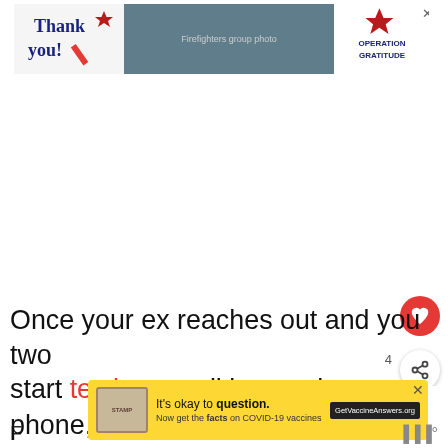[Figure (illustration): Advertisement banner: Thank you with Operation Gratitude branding and group of firefighters photo]
Once your ex reaches out and you two start texting or talking on the phone, suggest to him that you meet face to face.
[Figure (infographic): WHAT'S NEXT arrow panel with thumbnail and text: He Stopped Texting Me –...]
[Figure (illustration): Yellow advertisement banner: It's okay to question. Now get the facts on COVID-19 vaccines. GetVaccineAnswers.org]